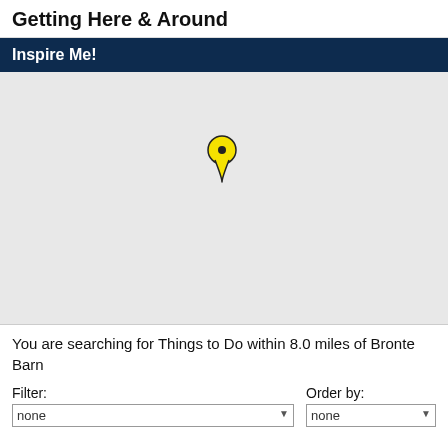Getting Here & Around
Inspire Me!
[Figure (map): A grey map with a single yellow location pin marker positioned slightly left of center in the upper portion of the map area.]
You are searching for Things to Do within 8.0 miles of Bronte Barn
Filter:
Order by:
none
none